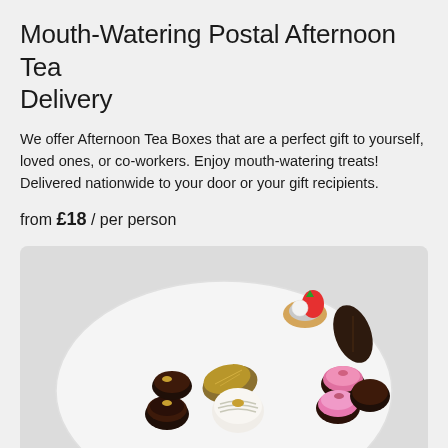Mouth-Watering Postal Afternoon Tea Delivery
We offer Afternoon Tea Boxes that are a perfect gift to yourself, loved ones, or co-workers. Enjoy mouth-watering treats! Delivered nationwide to your door or your gift recipients.
from £18 / per person
[Figure (photo): A white circular plate with assorted elegant afternoon tea pastries and chocolates: tarts with strawberry and cream, dark and white chocolate bonbons with gold leaf, pink fondant chocolates, and dark chocolate leaf-shaped pieces arranged artfully on a light grey background.]